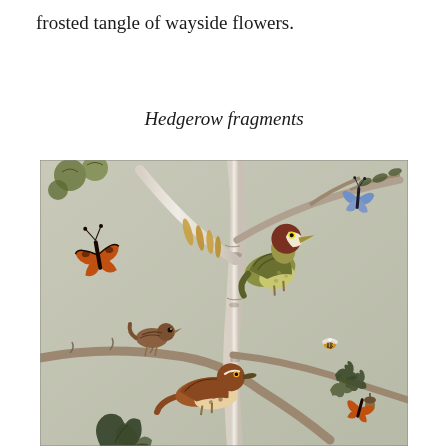frosted tangle of wayside flowers.
Hedgerow fragments
[Figure (illustration): A detailed naturalistic illustration showing birch tree branches with various birds including a woodpecker with red head and green-yellow body, a wren, and a brown thrasher-like bird on lower branches. Butterflies (monarch and blue) flutter among catkins, oak leaves with acorns, round green seedpods, and foliage on a pale grey-green background. A small bee is also visible. The style resembles fine chinoiserie or botanical wallpaper art.]